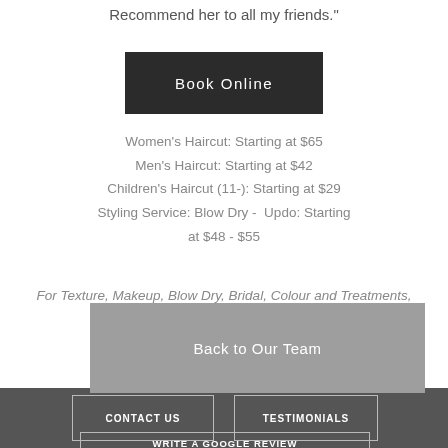Recommend her to all my friends.”
Book Online
Women’s Haircut: Starting at $65
Men’s Haircut: Starting at $42
Children’s Haircut (11-): Starting at $29
Styling Service: Blow Dry -  Updo: Starting at $48 - $55
For Texture, Makeup, Blow Dry, Bridal, Colour and Treatments, see our Services page.
Back to Our Team
CONTACT US
TESTIMONIALS
WRITE A GOOGLE REVIEW